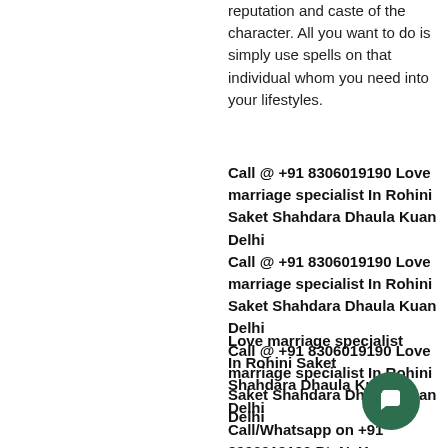reputation and caste of the character. All you want to do is simply use spells on that individual whom you need into your lifestyles.
Call @ +91 8306019190 Love marriage specialist In Rohini Saket Shahdara Dhaula Kuan Delhi
Call @ +91 8306019190 Love marriage specialist In Rohini Saket Shahdara Dhaula Kuan Delhi
Call @ +91 8306019190 Love marriage specialist In Rohini Saket Shahdara Dhaula Kuan Delhi
Love marriage specialist In Rohini Saket Shahdara Dhaula Kuan Delhi
Call/Whatsapp on +91 8306019190 Pt. N. K. Shastri Ji - There are cases of breakups in which people ruin their relationships due to some